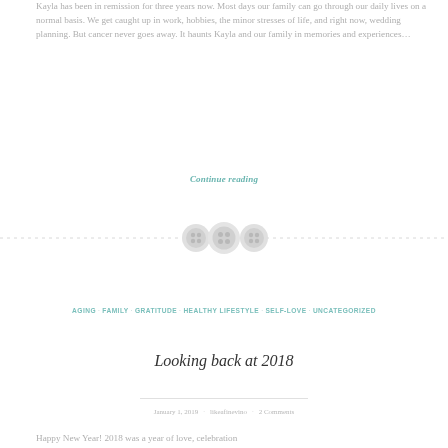Kayla has been in remission for three years now. Most days our family can go through our daily lives on a normal basis. We get caught up in work, hobbies, the minor stresses of life, and right now, wedding planning. But cancer never goes away. It haunts Kayla and our family in memories and experiences...
Continue reading
[Figure (illustration): Decorative divider with three button-like circular icons on a dashed horizontal line]
AGING · FAMILY · GRATITUDE · HEALTHY LIFESTYLE · SELF-LOVE · UNCATEGORIZED
Looking back at 2018
January 1, 2019 · likeafinevino · 2 Comments
Happy New Year! 2018 was a year of love, celebration...